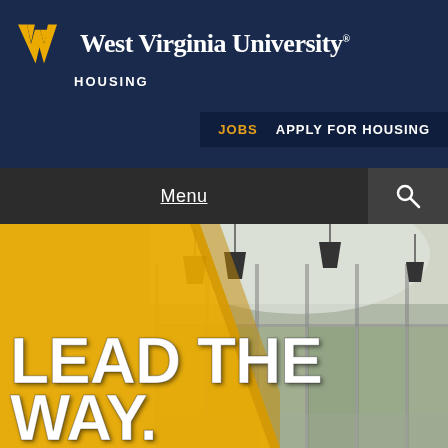[Figure (logo): West Virginia University flying W logo in gold and blue]
West Virginia University HOUSING
JOBS   APPLY FOR HOUSING
Menu
[Figure (photo): Interior dining or lounge area of a WVU housing building with pendant lights and large floor-to-ceiling windows overlooking trees. Gold chevron overlay on left side.]
LEAD THE WAY.